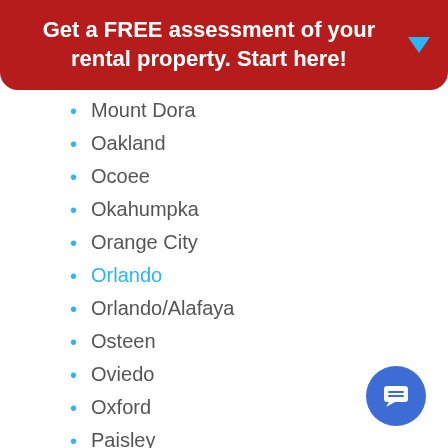Get a FREE assessment of your rental property. Start here!
Mount Dora
Oakland
Ocoee
Okahumpka
Orange City
Orlando
Orlando/Alafaya
Osteen
Oviedo
Oxford
Paisley
Sanford
Lake Monroe
Sorrento/Mt Plymouth
South Orlando